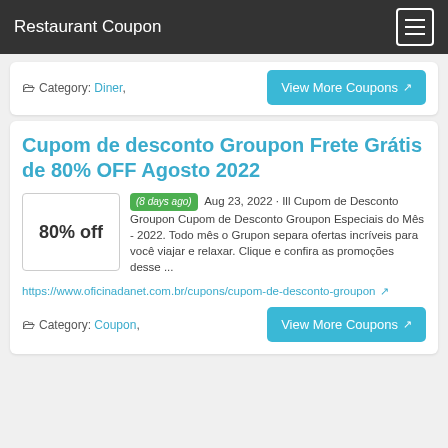Restaurant Coupon
Category: Diner,
View More Coupons
Cupom de desconto Groupon Frete Grátis de 80% OFF Agosto 2022
(8 days ago) Aug 23, 2022 · Ill Cupom de Desconto Groupon Cupom de Desconto Groupon Especiais do Mês - 2022. Todo mês o Grupon separa ofertas incríveis para você viajar e relaxar. Clique e confira as promoções desse ...
https://www.oficinadanet.com.br/cupons/cupom-de-desconto-groupon
Category: Coupon,
View More Coupons